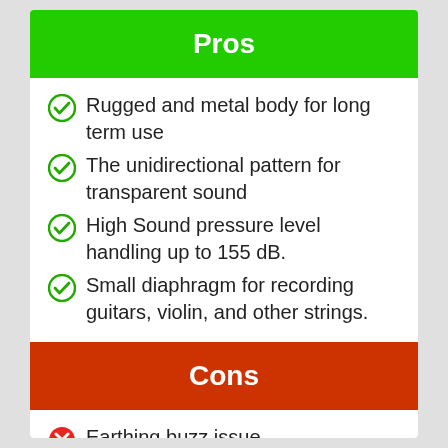Pros
Rugged and metal body for long term use
The unidirectional pattern for transparent sound
High Sound pressure level handling up to 155 dB.
Small diaphragm for recording guitars, violin, and other strings.
Cons
Earthing buzz issue
Needs phantom power